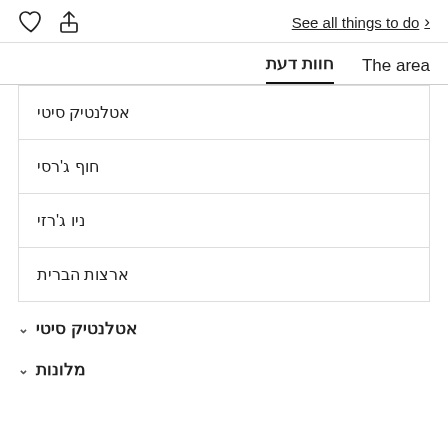See all things to do
חוות דעת | The area
אטלנטיק סיטי
חוף ג'רסי
ניו ג'רזי
ארצות הברית
אטלנטיק סיטי ∨
מלונות ∨